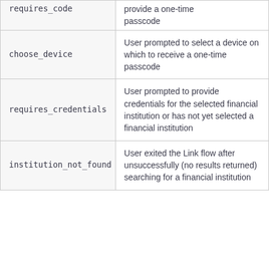| requires_code | provide a one-time passcode |
| choose_device | User prompted to select a device on which to receive a one-time passcode |
| requires_credentials | User prompted to provide credentials for the selected financial institution or has not yet selected a financial institution |
| institution_not_found | User exited the Link flow after unsuccessfully (no results returned) searching for a financial institution |